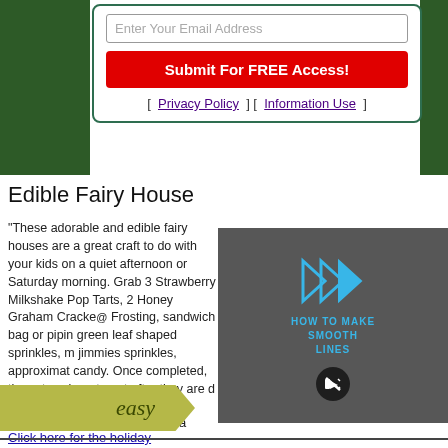[Figure (screenshot): Email signup box with input field, red submit button, and privacy/information use links]
Edible Fairy House
"These adorable and edible fairy houses are a great craft to do with your kids on a quiet afternoon or Saturday morning. Grab 3 Strawberry Milkshake Pop Tarts, 2 Honey Graham Crackers, Frosting, sandwich bag or piping bag, green leaf shaped sprinkles, multi-colored jimmies sprinkles, approximately candy. Once completed, these toys in or to eat after they are c
Click here for the holiday
Primary Technique: Food Cra
[Figure (screenshot): Video overlay showing play arrows icon in blue, HOW TO MAKE SMOOTH LINES label, and mute button]
[Figure (illustration): Easy difficulty badge - olive/green banner shape with italic 'easy' text]